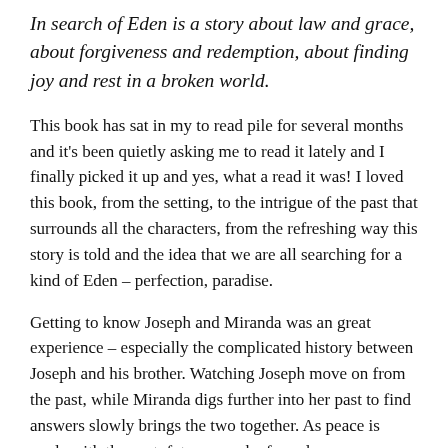In search of Eden is a story about law and grace, about forgiveness and redemption, about finding joy and rest in a broken world.
This book has sat in my to read pile for several months and it's been quietly asking me to read it lately and I finally picked it up and yes, what a read it was! I loved this book, from the setting, to the intrigue of the past that surrounds all the characters, from the refreshing way this story is told and the idea that we are all searching for a kind of Eden – perfection, paradise.
Getting to know Joseph and Miranda was an great experience – especially the complicated history between Joseph and his brother. Watching Joseph move on from the past, while Miranda digs further into her past to find answers slowly brings the two together. As peace is made with the past, futures can be forged.
Eden – the bubbly bright, somewhat adventurous girl is